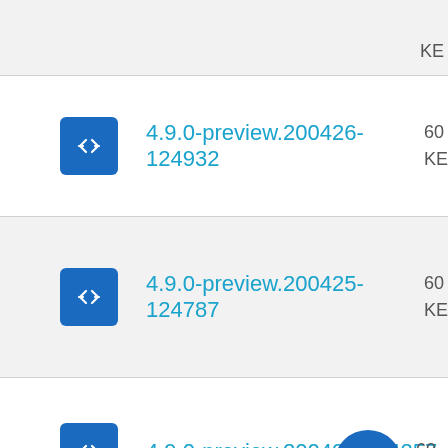4.9.0-preview.200426-124932
4.9.0-preview.200425-124787
4.9.0-preview.200424-124257